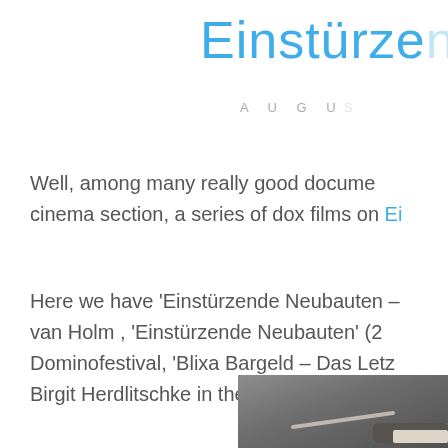Einstürze
AUGU
Well, among many really good docume cinema section, a series of dox films on Ei
Here we have 'Einstürzende Neubauten - van Holm , 'Einstürzende Neubauten' (2 Dominofestival, 'Blixa Bargeld – Das Letz Birgit Herdlitschke in the production of Z
[Figure (photo): A hand holding a stick or rod against a concrete/pavement background]